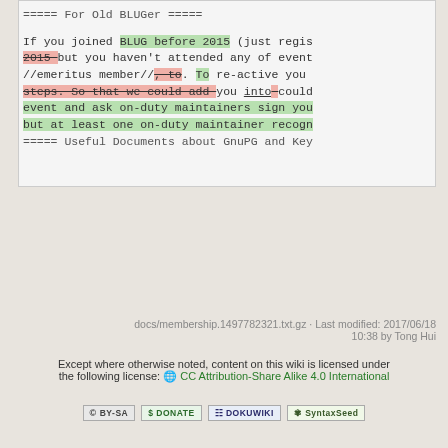===== For Old BLUGer =====

If you joined BLUG before 2015 (just regis 2015 but you haven't attended any of event //emeritus member//, to . To re-active you steps. So that we could add you into could event and ask on-duty maintainers sign you but at least one on-duty maintainer recogn
===== Useful Documents about GnuPG and Key
docs/membership.1497782321.txt.gz · Last modified: 2017/06/18 10:38 by Tong Hui
Except where otherwise noted, content on this wiki is licensed under the following license: CC Attribution-Share Alike 4.0 International
[Figure (other): Four badge icons: CC BY-SA, Donate, DokuWiki, SyntaxSeed]